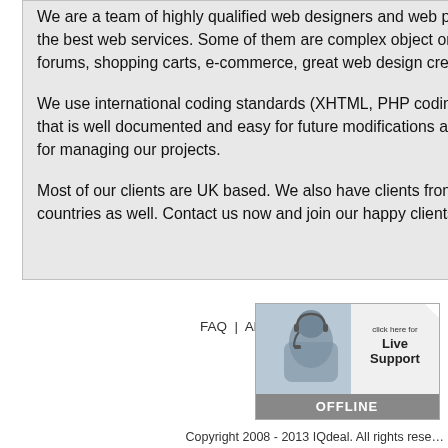We are a team of highly qualified web designers and web programmers. In the last 5+ years we offered our clients the best web services. Some of them are complex object oriented web programming, content management systems, forums, shopping carts, e-commerce, great web design creating, browsers compatibility, SEO and more.
We use international coding standards (XHTML, PHP coding standard and more) and deliver nice and clean code that is well documented and easy for future modifications and improvements. We do quality testing and we use CVS for managing our projects.
Most of our clients are UK based. We also have clients from Ireland, USA, China, Australia, Germany and other countries as well. Contact us now and join our happy clients list.
FAQ | About Us | Portfolio | Site Map
[Figure (other): Live Support button showing a person with headset, text 'click here for Live Support', and OFFLINE status bar at the bottom]
Copyright 2008 - 2013 IQdeal. All rights reserved.